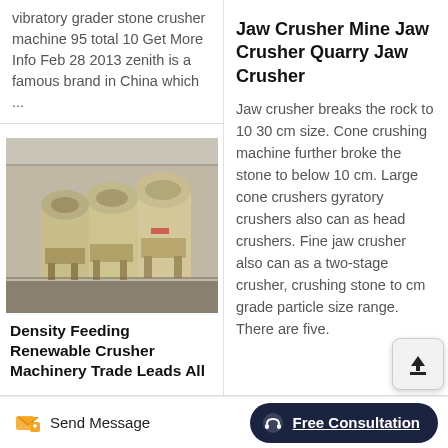vibratory grader stone crusher machine 95 total 10 Get More Info Feb 28 2013 zenith is a famous brand in China which ...
[Figure (photo): Yellow/beige cone crusher machines lined up in an industrial warehouse]
Density Feeding Renewable Crusher Machinery Trade Leads All
Jaw Crusher Mine Jaw Crusher Quarry Jaw Crusher
Jaw crusher breaks the rock to 10 30 cm size. Cone crushing machine further broke the stone to below 10 cm. Large cone crushers gyratory crushers also can as head crushers. Fine jaw crusher also can as a two-stage crusher, crushing stone to cm grade particle size range. There are five.
Send Message | Free Consultation